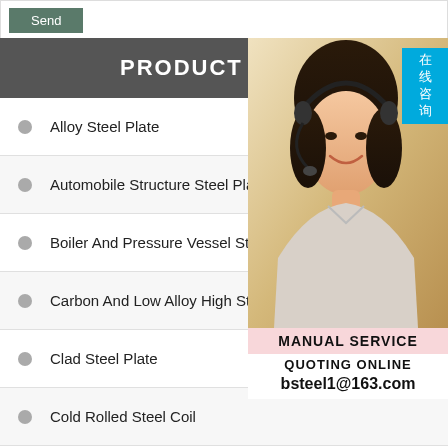PRODUCT
Alloy Steel Plate
Automobile Structure Steel Plate
Boiler And Pressure Vessel Steel Pl…
Carbon And Low Alloy High Strength…
Clad Steel Plate
Cold Rolled Steel Coil
Gas Cylinder Steel Coil
Pipeline Steel Plate
[Figure (photo): Customer service representative wearing headset, with Chinese text badge (在线咨询), MANUAL SERVICE label, QUOTING ONLINE text, and email bsteel1@163.com]